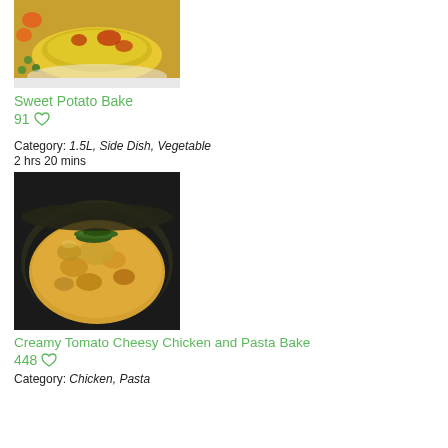[Figure (photo): Sweet potato bake dish with melted cheese topping and vegetables]
Sweet Potato Bake
91 ♡
Category: 1.5L, Side Dish, Vegetable
2 hrs 20 mins
[Figure (photo): Creamy tomato cheesy chicken and pasta bake in a dark bowl with green onion garnish]
Creamy Tomato Cheesy Chicken and Pasta Bake
448 ♡
Category: Chicken, Pasta